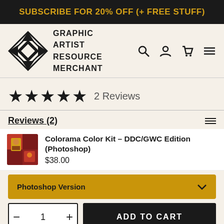SUBSCRIBE FOR 20% OFF (+ FREE STUFF)
[Figure (logo): Graphic Artist Resource Merchant (GARM) logo with geometric diamond pattern and text]
★★★★★ 2 Reviews
Reviews (2)
Colorama Color Kit - DDC/GWC Edition (Photoshop) $38.00
Photoshop Version
− 1 + ADD TO CART